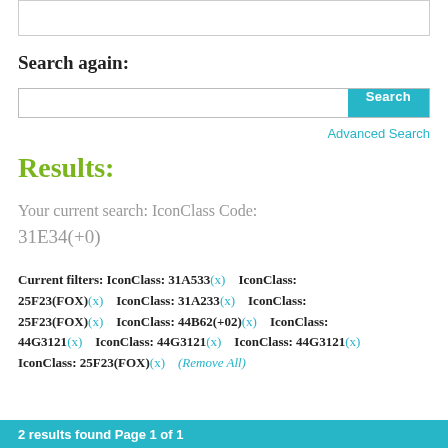[Figure (screenshot): Top portion of a search input box with border, partially visible at top of page]
Search again:
[Figure (screenshot): Search bar with white input field and cyan/teal Search button]
Advanced Search
Results:
Your current search: IconClass Code: 31E34(+0)
Current filters: IconClass: 31A533(x)   IconClass: 25F23(FOX)(x)   IconClass: 31A233(x)   IconClass: 25F23(FOX)(x)   IconClass: 44B62(+02)(x)   IconClass: 44G3121(x)   IconClass: 44G3121(x)   IconClass: 44G3121(x)   IconClass: 25F23(FOX)(x)   (Remove All)
2 results found Page 1 of 1